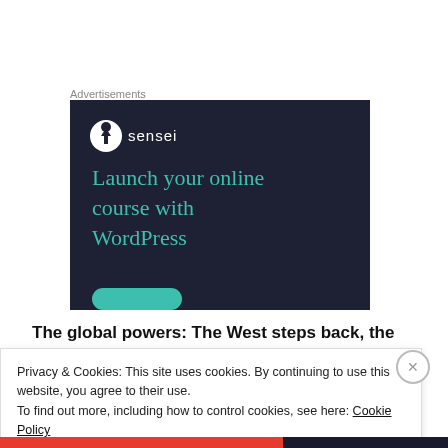Advertisements
[Figure (illustration): Sensei advertisement on dark navy background: Sensei logo (circle with tree icon and 'sensei' text), headline 'Launch your online course with WordPress', teal button at bottom]
The global powers: The West steps back, the BRICS
Privacy & Cookies: This site uses cookies. By continuing to use this website, you agree to their use.
To find out more, including how to control cookies, see here: Cookie Policy
Close and accept